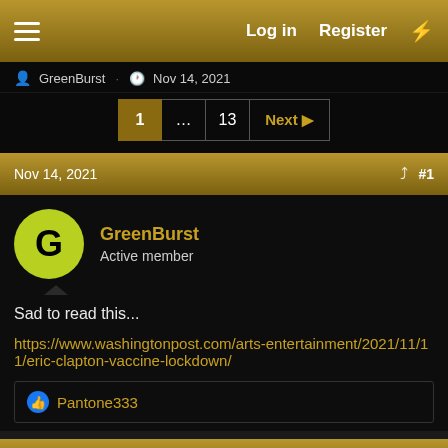Log in  Register
GreenBurst · Nov 14, 2021
1 ... 13 Next
Nov 14, 2021  #1
GreenBurst
Active member
Sad to read this...
https://www.washingtonpost.com/arts-entertainment/2021/11/11/eric-clapton-vaccine-lockdown/
Pantone333
Nov 14, 2021  #2